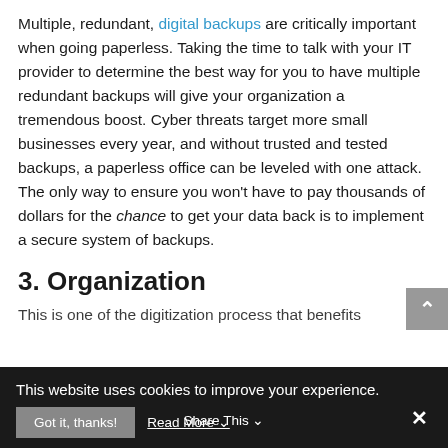Multiple, redundant, digital backups are critically important when going paperless. Taking the time to talk with your IT provider to determine the best way for you to have multiple redundant backups will give your organization a tremendous boost. Cyber threats target more small businesses every year, and without trusted and tested backups, a paperless office can be leveled with one attack. The only way to ensure you won't have to pay thousands of dollars for the chance to get your data back is to implement a secure system of backups.
3. Organization
This is one of the digitization process that benefits...
This website uses cookies to improve your experience.